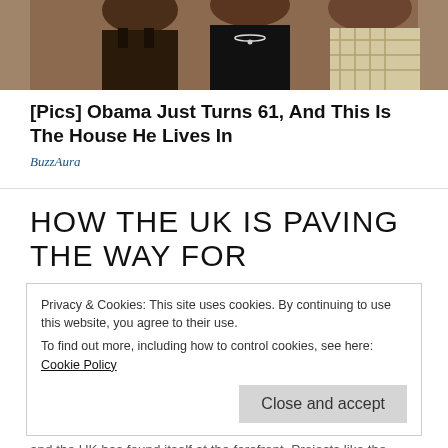[Figure (photo): Cropped photo of people, partially visible, appears to be a group photo showing shoulders and faces]
[Pics] Obama Just Turns 61, And This Is The House He Lives In
BuzzAura
HOW THE UK IS PAVING THE WAY FOR
Privacy & Cookies: This site uses cookies. By continuing to use this website, you agree to their use.
To find out more, including how to control cookies, see here: Cookie Policy
Close and accept
and the UK has found itself at the forefront. Projects like the